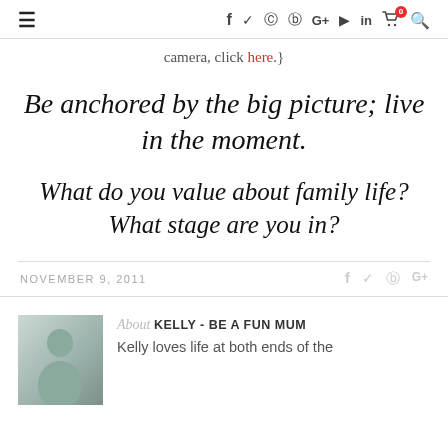≡   f  ✓  ⊙  ⊕  G+  ▶  in  🛒⁰  🔍
camera, click here.}
Be anchored by the big picture; live in the moment.
What do you value about family life? What stage are you in?
NOVEMBER 9, 2011    f  ✓  ⊕  G+
About KELLY - BE A FUN MUM
Kelly loves life at both ends of the